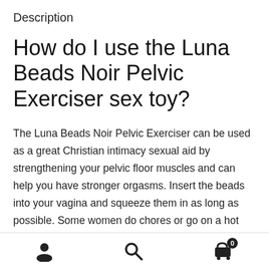Description
How do I use the Luna Beads Noir Pelvic Exerciser sex toy?
The Luna Beads Noir Pelvic Exerciser can be used as a great Christian intimacy sexual aid by strengthening your pelvic floor muscles and can help you have stronger orgasms. Insert the beads into your vagina and squeeze them in as long as possible. Some women do chores or go on a hot date while wearing them. An added benefit of the beads is that their weighted balls inside vibrate